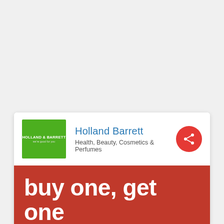[Figure (logo): Holland & Barrett green square logo with white text]
Holland Barrett
Health, Beauty, Cosmetics & Perfumes
[Figure (infographic): Red circular share button with share icon]
buy one, get one